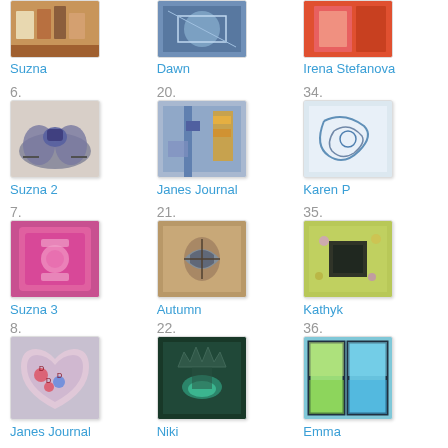[Figure (photo): Partial top row showing cropped images of artworks by Suzna, Dawn, and Irena Stefanova]
Suzna
Dawn
Irena Stefanova
[Figure (photo): Item 6 - artwork by Suzna 2, decorative bicycle ornament]
6. Suzna 2
[Figure (photo): Item 20 - artwork by Janes Journal, mixed media painting]
20. Janes Journal
[Figure (photo): Item 34 - artwork by Karen P, blue sketch]
34. Karen P
[Figure (photo): Item 7 - artwork by Suzna 3, pink decorated book]
7. Suzna 3
[Figure (photo): Item 21 - artwork by Autumn, butterfly mixed media]
21. Autumn
[Figure (photo): Item 35 - artwork by Kathyk, square piece with black rectangle]
35. Kathyk
[Figure (photo): Item 8 - artwork by Janes Journal, heart shaped piece]
8. Janes Journal
[Figure (photo): Item 22 - artwork by Niki, dark teal crown image]
22. Niki
[Figure (photo): Item 36 - artwork by Emma, colorful window panels]
36. Emma